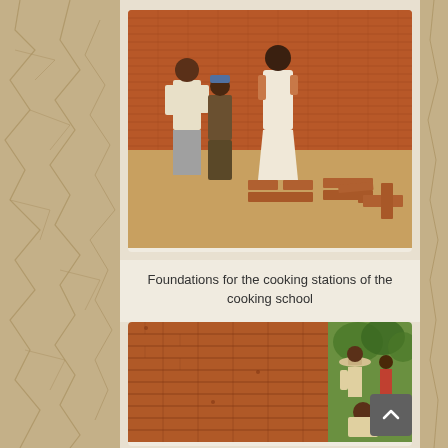[Figure (photo): Outdoor photo showing three people standing near a brick wall with bricks arranged on the ground forming foundations for cooking stations. The ground is sandy/dusty.]
Foundations for the cooking stations of the cooking school
[Figure (photo): Partial photo showing a brick wall being constructed, with workers visible on the right side of the image near green trees in the background.]